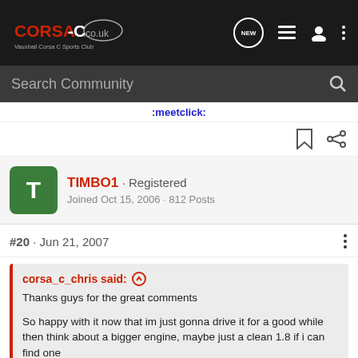CORSA-C.co.uk - Vauxhall Corsa C Sports Club - Navigation bar with NEW, list, user, and more icons
Search Community
:meetclick:
TIMBO1 · Registered
Joined Oct 15, 2006 · 812 Posts
#20 · Jun 21, 2007
corsa_c_chris said: ↑
Thanks guys for the great comments

So happy with it now that im just gonna drive it for a good while then think about a bigger engine, maybe just a clean 1.8 if i can find one
i would........ i saw it in the classifieds and thought what the hell